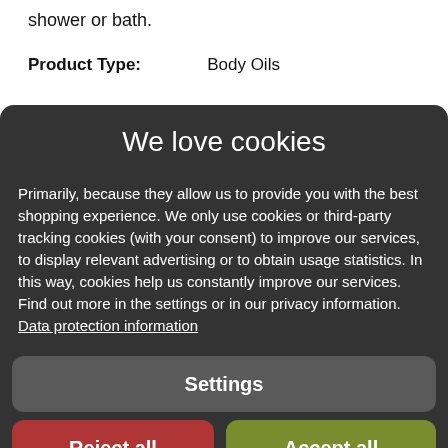shower or bath.
Product Type:   Body Oils
We love cookies
Primarily, because they allow us to provide you with the best shopping experience. We only use cookies or third-party tracking cookies (with your consent) to improve our services, to display relevant advertising or to obtain usage statistics. In this way, cookies help us constantly improve our services. Find out more in the settings or in our privacy information. Data protection information
Settings
Reject all
Accept all